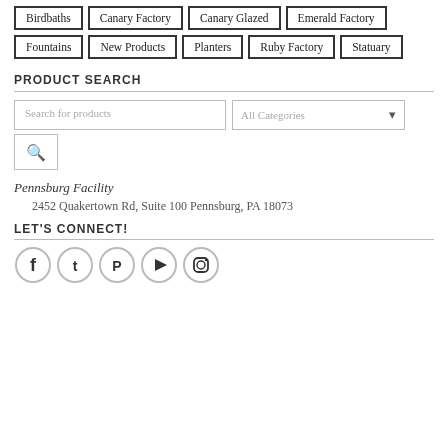Birdbaths
Canary Factory
Canary Glazed
Emerald Factory
Fountains
New Products
Planters
Ruby Factory
Statuary
PRODUCT SEARCH
Search for products
All Categories
Pennsburg Facility
2452 Quakertown Rd, Suite 100 Pennsburg, PA 18073
LET'S CONNECT!
[Figure (infographic): Social media icon buttons: Facebook, Twitter, Pinterest, YouTube, Instagram]